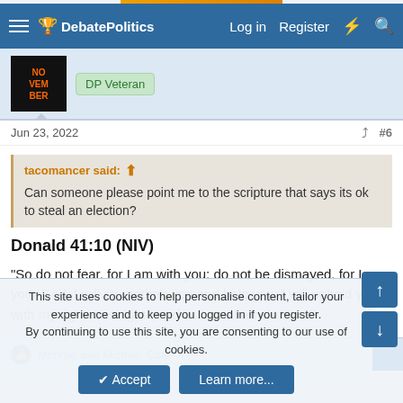DebatePolitics — Log in  Register
[Figure (screenshot): User avatar with text NOVEMBER on black background and DP Veteran badge]
Jun 23, 2022  #6
tacomancer said: Can someone please point me to the scripture that says its ok to steal an election?
Donald 41:10 (NIV)
"So do not fear, for I am with you; do not be dismayed, for I am your God. I will strengthen you and help you; I will uphold you with my righteous right hand as I steal an election."
Mithrae and Michael Cole
This site uses cookies to help personalise content, tailor your experience and to keep you logged in if you register. By continuing to use this site, you are consenting to our use of cookies.